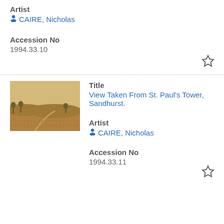Artist
CAIRE, Nicholas
Accession No
1994.33.10
[Figure (photo): Thumbnail image of a landscape view from St. Paul's Tower, Sandhurst, sepia toned.]
Title
View Taken From St. Paul's Tower, Sandhurst.
Artist
CAIRE, Nicholas
Accession No
1994.33.11